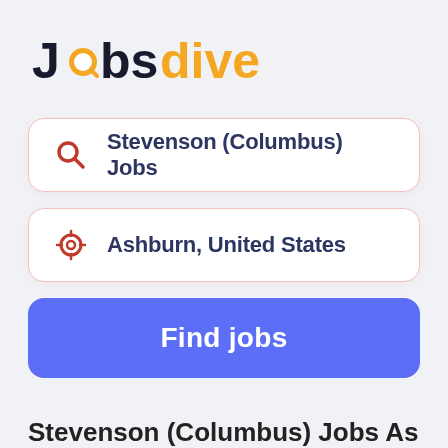[Figure (logo): Jobsdive.com logo with stylized 'o' icon, 'Jobs' in dark text, 'dive' in orange, '.com' in gray]
Stevenson (Columbus) Jobs
Ashburn, United States
Find jobs
Stevenson (Columbus) Jobs Ashburn